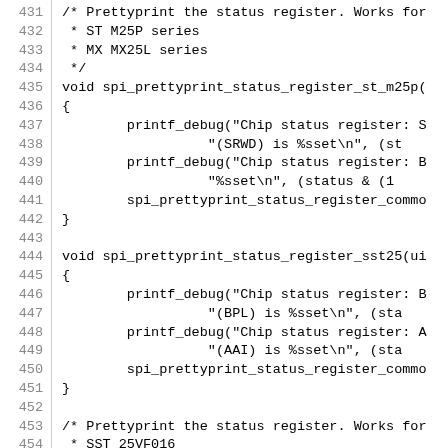[Figure (screenshot): Source code listing showing C functions spi_prettyprint_status_register_st_m25p, spi_prettyprint_status_register_sst25, and beginning of spi_prettyprint_status_register_sst25vf0, with line numbers 431-460]